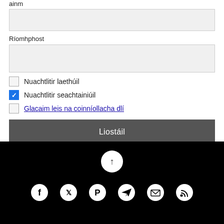ainm
Ríomhphost
Nuachtlitir laethúil
Nuachtlitir seachtainiúil
Glacaim leis na coinníollacha dlí
Liostáil
Social icons: Facebook, Twitter, Pinterest, Telegram, Email, RSS